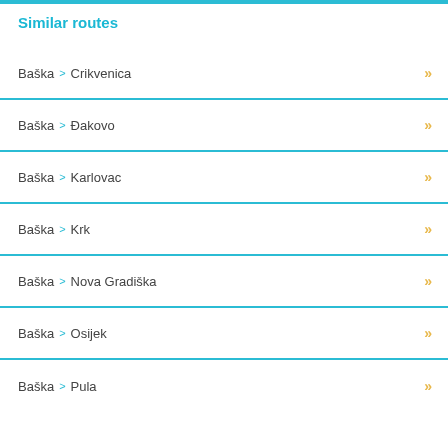Similar routes
Baška > Crikvenica
Baška > Đakovo
Baška > Karlovac
Baška > Krk
Baška > Nova Gradiška
Baška > Osijek
Baška > Pula